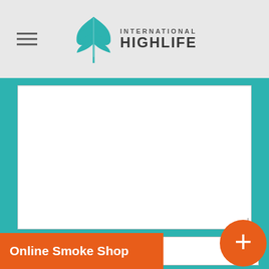[Figure (logo): International Highlife logo with cannabis leaf icon and text]
[Figure (screenshot): Web form with large textarea for comment, Name field, Email field, and Online Smoke Shop banner at bottom]
Name *
Email *
Online Smoke Shop